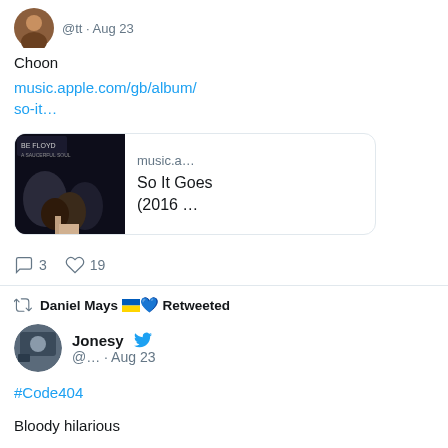Choon
music.apple.com/gb/album/so-it…
[Figure (screenshot): Music album card showing band photo and text: music.a… / So It Goes (2016 …]
3 replies, 19 likes
Daniel Mays 🇺🇦💙 Retweeted
Jonesy @… · Aug 23
#Code404
Bloody hilarious
[Figure (photo): Bottom of page showing a person standing in front of a shipping container scene]